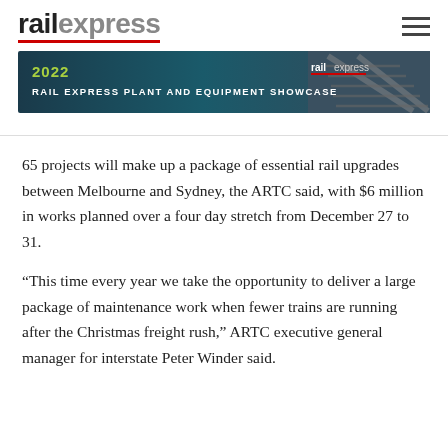railexpress
[Figure (other): 2022 Rail Express Plant and Equipment Showcase banner advertisement with green and blue gradient background and railexpress logo]
65 projects will make up a package of essential rail upgrades between Melbourne and Sydney, the ARTC said, with $6 million in works planned over a four day stretch from December 27 to 31.
“This time every year we take the opportunity to deliver a large package of maintenance work when fewer trains are running after the Christmas freight rush,” ARTC executive general manager for interstate Peter Winder said.